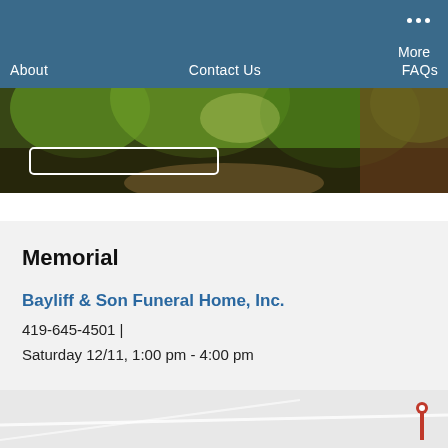About   Contact Us   FAQs   More
[Figure (photo): Forest trail photo with green trees and sunlight, partially visible at top of page]
Memorial
Bayliff & Son Funeral Home, Inc.
419-645-4501 |
Saturday 12/11, 1:00 pm - 4:00 pm
[Figure (map): Map section visible at the bottom of the page, partially shown]